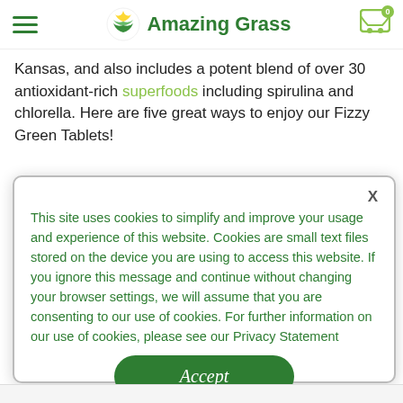Amazing Grass
Kansas, and also includes a potent blend of over 30 antioxidant-rich superfoods including spirulina and chlorella. Here are five great ways to enjoy our Fizzy Green Tablets!
This site uses cookies to simplify and improve your usage and experience of this website. Cookies are small text files stored on the device you are using to access this website. If you ignore this message and continue without changing your browser settings, we will assume that you are consenting to our use of cookies. For further information on our use of cookies, please see our Privacy Statement